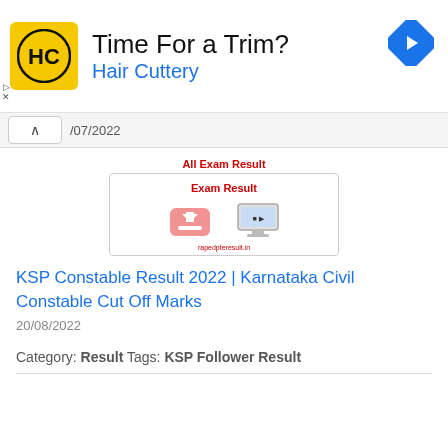[Figure (infographic): Hair Cuttery advertisement banner with HC logo, 'Time For a Trim?' heading, 'Hair Cuttery' subtitle in blue, and a blue navigation arrow icon]
▷ ×
⌃ /07/2022
[Figure (infographic): All Exam Result widget showing 'Exam Result' label in red, a box with download and screen icons, and site URL rapedpteresult.in]
KSP Constable Result 2022 | Karnataka Civil Constable Cut Off Marks
20/08/2022
Category: Result Tags: KSP Follower Result